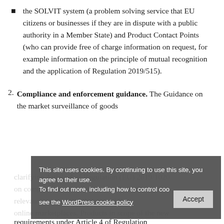the SOLVIT system (a problem solving service that EU citizens or businesses if they are in dispute with a public authority in a Member State) and Product Contact Points (who can provide free of charge information on request, for example information on the principle of mutual recognition and the application of Regulation 2019/515).
2. Compliance and enforcement guidance. The Guidance on the market surveillance of goods clarifying Article 4 of Regulation (EU) 2019/1020 on compliance and enforcement, that will be of relevance to products that are sold on online marketplaces. Products in scope of the new requirements under Article 4 of Regulation
This site uses cookies. By continuing to use this site, you agree to their use. To find out more, including how to control cookies, see the WordPress cookie policy [Accept]